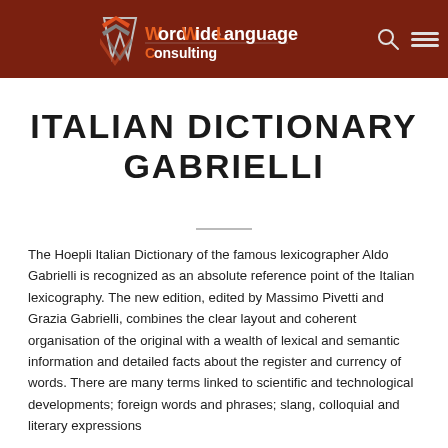WordWide Language Consulting
ITALIAN DICTIONARY GABRIELLI
The Hoepli Italian Dictionary of the famous lexicographer Aldo Gabrielli is recognized as an absolute reference point of the Italian lexicography. The new edition, edited by Massimo Pivetti and Grazia Gabrielli, combines the clear layout and coherent organisation of the original with a wealth of lexical and semantic information and detailed facts about the register and currency of words. There are many terms linked to scientific and technological developments; foreign words and phrases; slang, colloquial and literary expressions